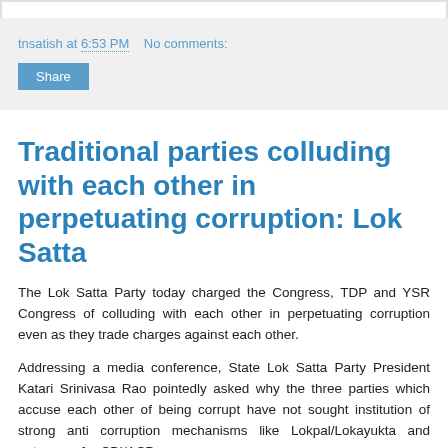tnsatish at 6:53 PM   No comments:
Share
Traditional parties colluding with each other in perpetuating corruption: Lok Satta
The Lok Satta Party today charged the Congress, TDP and YSR Congress of colluding with each other in perpetuating corruption even as they trade charges against each other.
Addressing a media conference, State Lok Satta Party President Katari Srinivasa Rao pointedly asked why the three parties which accuse each other of being corrupt have not sought institution of strong anti corruption mechanisms like Lokpal/Lokayukta and autonomy for CBI/ACB.